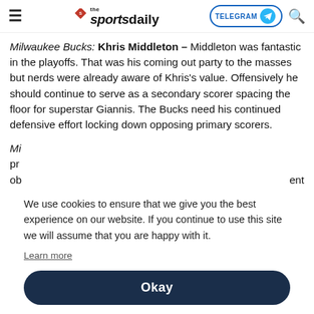the sportsdaily
Milwaukee Bucks: Khris Middleton – Middleton was fantastic in the playoffs. That was his coming out party to the masses but nerds were already aware of Khris's value. Offensively he should continue to serve as a secondary scorer spacing the floor for superstar Giannis. The Bucks need his continued defensive effort locking down opposing primary scorers.
Mi... pr... ob... [partially obscured by cookie popup]
We use cookies to ensure that we give you the best experience on our website. If you continue to use this site we will assume that you are happy with it. Learn more
Okay